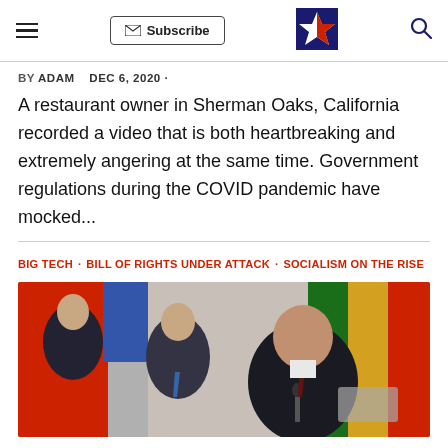Subscribe | [Logo] | [Search]
BY ADAM   DEC 6, 2020 ·
A restaurant owner in Sherman Oaks, California recorded a video that is both heartbreaking and extremely angering at the same time. Government regulations during the COVID pandemic have mocked...
BIG TECH · BILL OF RIGHTS UNDER ATTACK · SOCIALISM ON THE RISE
[Figure (photo): Photo of a person speaking at a conference table with flags in the background, other individuals visible behind them.]